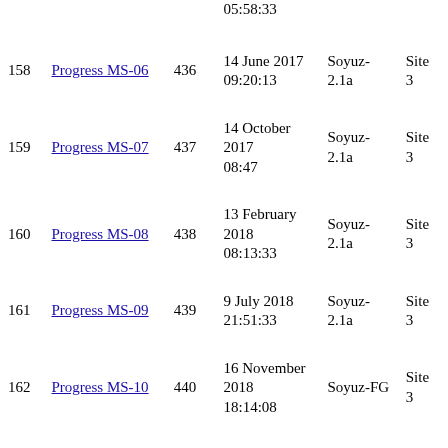| # | Mission | ID | Date/Time | Rocket | Site |
| --- | --- | --- | --- | --- | --- |
| (partial) | (partial) | (partial) | 05:58:33 | (partial) | Site 3... |
| 158 | Progress MS-06 | 436 | 14 June 2017 09:20:13 | Soyuz-2.1a | Site 3... |
| 159 | Progress MS-07 | 437 | 14 October 2017 08:47 | Soyuz-2.1a | Site 3... |
| 160 | Progress MS-08 | 438 | 13 February 2018 08:13:33 | Soyuz-2.1a | Site 3... |
| 161 | Progress MS-09 | 439 | 9 July 2018 21:51:33 | Soyuz-2.1a | Site 3... |
| 162 | Progress MS-10 | 440 | 16 November 2018 18:14:08 | Soyuz-FG | Site 3... |